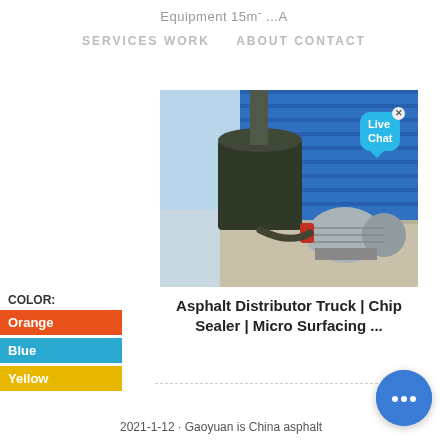Equipment 15m- ...A
SERVICES   WORK   ABOUT   CONTACT
[Figure (photo): Photograph of an asphalt distributor or pump machine with a large dark cylindrical body and a blue/grey electric motor mounted on a concrete platform, with blue metal cladding in the background.]
Live Chat
COLOR:
Orange
Blue
Yellow
Asphalt Distributor Truck | Chip Sealer | Micro Surfacing ...
2021-1-12 · Gaoyuan is China asphalt